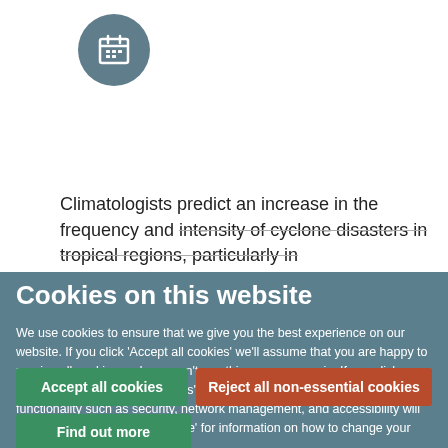[Figure (logo): Dark teal circle icon with a calendar/grid symbol in white]
Climatologists predict an increase in the frequency and intensity of cyclone disasters in tropical regions, particularly in
Cookies on this website
We use cookies to ensure that we give you the best experience on our website. If you click 'Accept all cookies' we'll assume that you are happy to receive all cookies and you won't see this message again. If you click 'Reject all non-essential cookies' only necessary cookies providing core functionality such as security, network management, and accessibility will be enabled. Click 'Find out more' for information on how to change your cookie settings.
Accept all cookies
Reject all non-essential cookies
Find out more